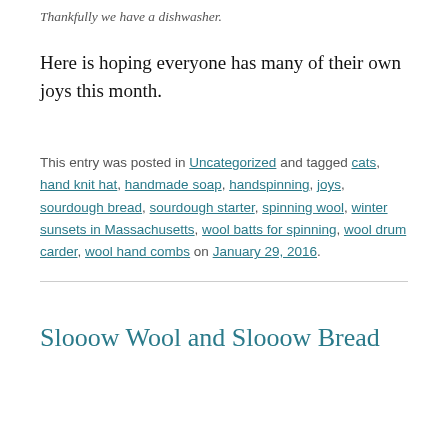Thankfully we have a dishwasher.
Here is hoping everyone has many of their own joys this month.
This entry was posted in Uncategorized and tagged cats, hand knit hat, handmade soap, handspinning, joys, sourdough bread, sourdough starter, spinning wool, winter sunsets in Massachusetts, wool batts for spinning, wool drum carder, wool hand combs on January 29, 2016.
Slooow Wool and Slooow Bread